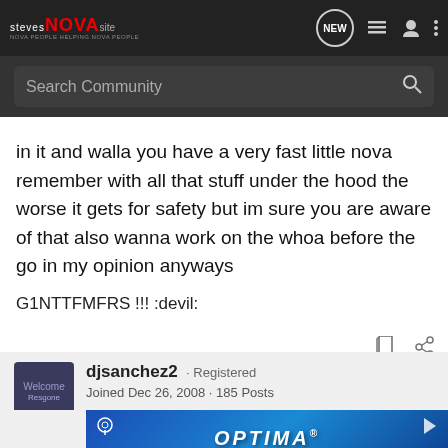Steves NOVA Site — Search Community
in it and walla you have a very fast little nova remember with all that stuff under the hood the worse it gets for safety but im sure you are aware of that also wanna work on the whoa before the go in my opinion anyways
G1NTTFMFRS !!! :devil:
djsanchez2 · Registered
Joined Dec 26, 2008 · 185 Posts
[Figure (screenshot): Optima Batteries advertisement banner]
#12 · Ma...